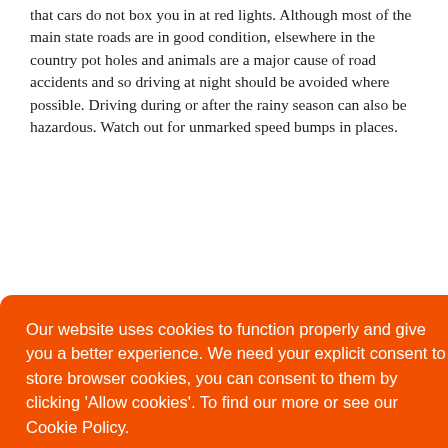that cars do not box you in at red lights. Although most of the main state roads are in good condition, elsewhere in the country pot holes and animals are a major cause of road accidents and so driving at night should be avoided where possible. Driving during or after the rainy season can also be hazardous. Watch out for unmarked speed bumps in places.
Our website uses cookies to function properly and give you a better experience. We need your explicit consent to store browser cookies, you can consent to them by clicking 'Allow cookies'. To find our more or see our Cookie Policy.
Learn more
Allow Cookies
n a
s but
20 Shares